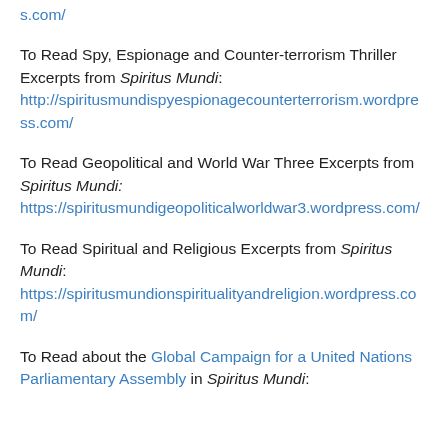s.com/
To Read Spy, Espionage and Counter-terrorism Thriller Excerpts from Spiritus Mundi: http://spiritusmundispyespionagecounterterrorism.wordpress.com/
To Read Geopolitical and World War Three Excerpts from Spiritus Mundi: https://spiritusmundigeopoliticalworldwar3.wordpress.com/
To Read Spiritual and Religious Excerpts from Spiritus Mundi: https://spiritusmundionspiritualityandreligion.wordpress.com/
To Read about the Global Campaign for a United Nations Parliamentary Assembly in Spiritus Mundi: